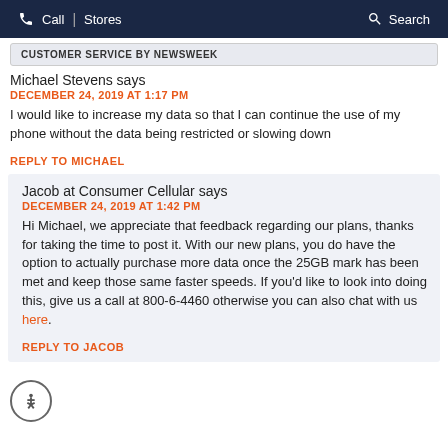Call | Stores   Search
CUSTOMER SERVICE BY NEWSWEEK
Michael Stevens says
DECEMBER 24, 2019 AT 1:17 PM
I would like to increase my data so that I can continue the use of my phone without the data being restricted or slowing down
REPLY TO MICHAEL
Jacob at Consumer Cellular says
DECEMBER 24, 2019 AT 1:42 PM
Hi Michael, we appreciate that feedback regarding our plans, thanks for taking the time to post it. With our new plans, you do have the option to actually purchase more data once the 25GB mark has been met and keep those same faster speeds. If you'd like to look into doing this, give us a call at 800-6-4460 otherwise you can also chat with us here.
REPLY TO JACOB